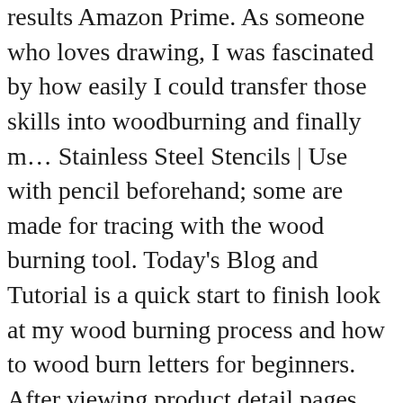results Amazon Prime. As someone who loves drawing, I was fascinated by how easily I could transfer those skills into woodburning and finally m... Stainless Steel Stencils | Use with pencil beforehand; some are made for tracing with the wood burning tool. Today's Blog and Tutorial is a quick start to finish look at my wood burning process and how to wood burn letters for beginners. After viewing product detail pages, look here to find an easy way to navigate back to pages you are interested in. Reviewed in the United Kingdom on 12 September 2019. Weller at Total Tools. Hold the tip … I wanted to add a personal touch to my ugly door, and more importantly, I wanted to play with my new toy, a Weller P2K catalytic soldering iron. Top subscription boxes – right to your door, © 1996-2020, Amazon.com, Inc. or its affiliates, or even stencil cutting, pattern